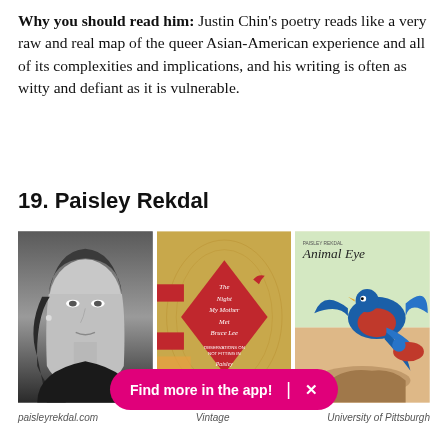Why you should read him: Justin Chin's poetry reads like a very raw and real map of the queer Asian-American experience and all of its complexities and implications, and his writing is often as witty and defiant as it is vulnerable.
19. Paisley Rekdal
[Figure (photo): Black and white portrait photo of Paisley Rekdal, a woman with long hair]
[Figure (photo): Book cover: The Night My Mother Met Bruce Lee - Observations on Not Fitting In by Paisley Rekdal, published by Vintage]
[Figure (photo): Book cover: Animal Eye by Paisley Rekdal, published by University of Pittsburgh Press, showing colorful birds]
paisleyrekdal.com
Vintage
University of Pittsburgh